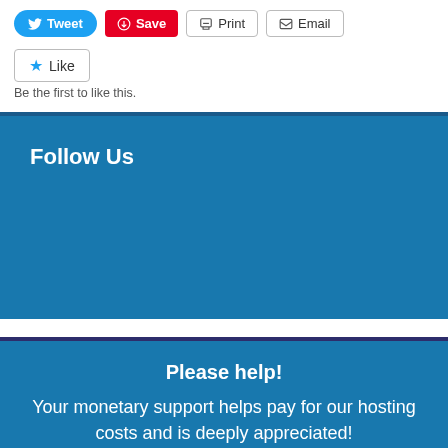[Figure (screenshot): Social sharing toolbar with Tweet, Save, Print, and Email buttons]
[Figure (screenshot): Like button with star icon and 'Be the first to like this.' text below]
Be the first to like this.
Follow Us
Please help!
Your monetary support helps pay for our hosting costs and is deeply appreciated! All benefactors are remembered by